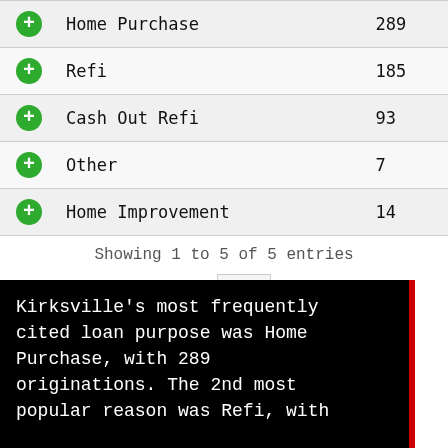|  | Loan Purpose | Count |
| --- | --- | --- |
| + | Home Purchase | 289 |
| + | Refi | 185 |
| + | Cash Out Refi | 93 |
| + | Other | 7 |
| + | Home Improvement | 14 |
Showing 1 to 5 of 5 entries
Previous  1  Next
Kirksville's most frequently cited loan purpose was Home Purchase, with 289 originations. The 2nd most popular reason was Refi, with